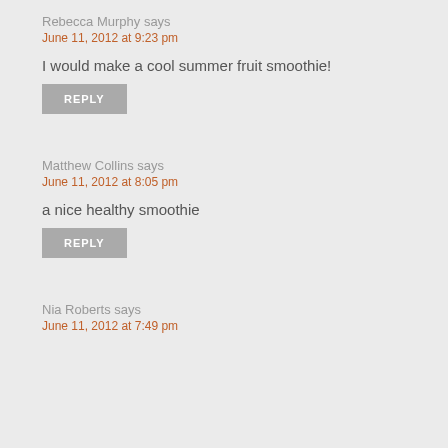Rebecca Murphy says
June 11, 2012 at 9:23 pm
I would make a cool summer fruit smoothie!
REPLY
Matthew Collins says
June 11, 2012 at 8:05 pm
a nice healthy smoothie
REPLY
Nia Roberts says
June 11, 2012 at 7:49 pm